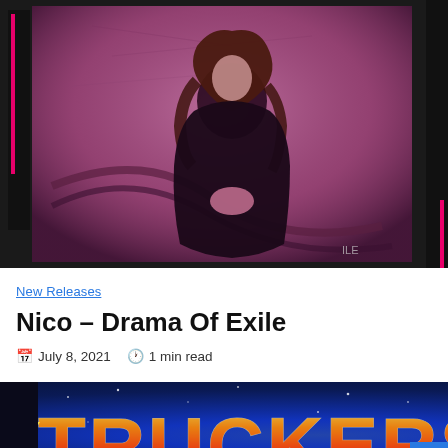[Figure (photo): A woman with long dark reddish hair wearing a black coat or dress, seated on stairs against a purple-toned wall. The image is styled like a film negative strip with pink/magenta accent bars on the sides against a dark background.]
New Releases
Nico – Drama Of Exile
July 8, 2021   1 min read
[Figure (photo): Bottom portion of an image showing the word TRUCKERS in large stylized letters with flame/cosmic effects on a dark starry background.]